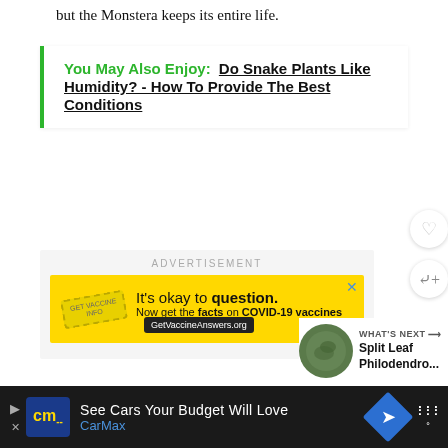but the Monstera keeps its entire life.
You May Also Enjoy:  Do Snake Plants Like Humidity? - How To Provide The Best Conditions
[Figure (screenshot): Yellow advertisement banner: 'It's okay to question. Now get the facts on COVID-19 vaccines GetVaccineAnswers.org' with a stamp graphic on yellow background]
[Figure (screenshot): WHAT'S NEXT arrow label with Split Leaf Philodendro... thumbnail image and circular plant photo]
[Figure (screenshot): Bottom dark advertisement bar: CarMax 'See Cars Your Budget Will Love' with CM logo, navigation arrow icon, and menu icon]